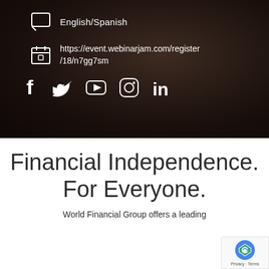[Figure (infographic): Dark textured background section with two icon+text rows and social media icons. Row 1: chat bubble icon with 'English/Spanish'. Row 2: calendar icon with URL 'https://event.webinarjam.com/register/18/n7gg7sm'. Social icons: Facebook, Twitter, YouTube, Instagram, LinkedIn.]
Financial Independence. For Everyone.
World Financial Group offers a leading